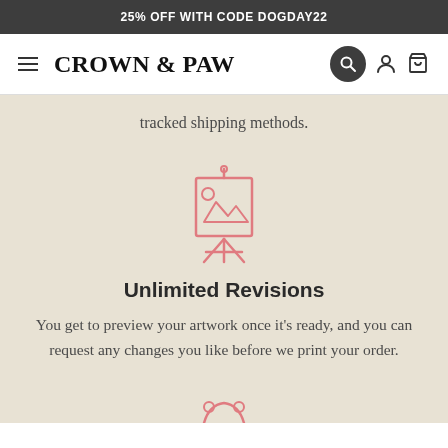25% OFF WITH CODE DOGDAY22
[Figure (logo): Crown & Paw logo with hamburger menu, search, account, and cart icons in navigation bar]
tracked shipping methods.
[Figure (illustration): Pink outline icon of an artist easel with a painting/canvas on it]
Unlimited Revisions
You get to preview your artwork once it's ready, and you can request any changes you like before we print your order.
[Figure (illustration): Pink outline icon partially visible at the bottom of the page]